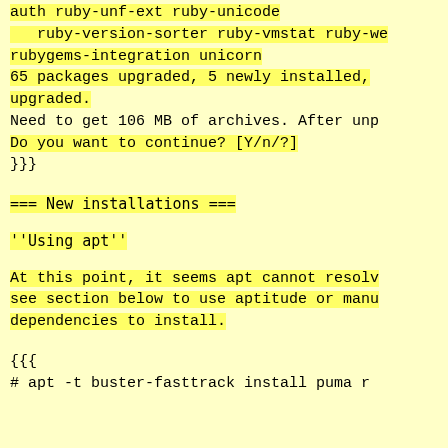auth ruby-unf-ext ruby-unicode
   ruby-version-sorter ruby-vmstat ruby-we
rubygems-integration unicorn
65 packages upgraded, 5 newly installed,
upgraded.
Need to get 106 MB of archives. After unp
Do you want to continue? [Y/n/?]
}}}
=== New installations ===
''Using apt''
At this point, it seems apt cannot resolv
see section below to use aptitude or manu
dependencies to install.
{{{
# apt -t buster-fasttrack install puma r